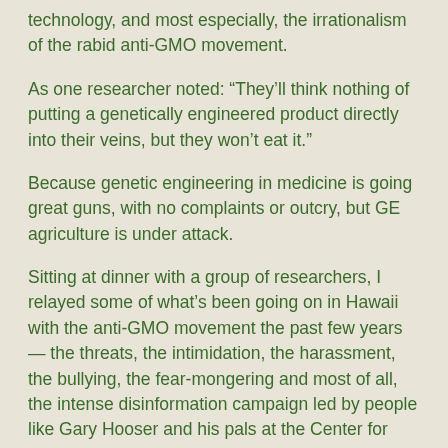technology, and most especially, the irrationalism of the rabid anti-GMO movement.
As one researcher noted: “They’ll think nothing of putting a genetically engineered product directly into their veins, but they won’t eat it.”
Because genetic engineering in medicine is going great guns, with no complaints or outcry, but GE agriculture is under attack.
Sitting at dinner with a group of researchers, I relayed some of what’s been going on in Hawaii with the anti-GMO movement the past few years — the threats, the intimidation, the harassment, the bullying, the fear-mongering and most of all, the intense disinformation campaign led by people like Gary Hooser and his pals at the Center for Food Safety.
I recounted that I’d been an avid environmentalist — and though that hasn’t changed, I’ve lost all faith in the “green” movement — and opposed to GMOs until I witnessed the ugliness of the anti-GMO movement, and started doing more